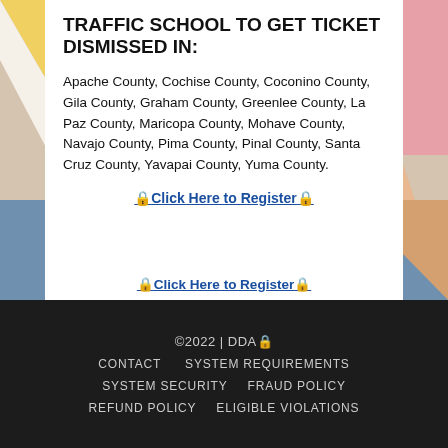[Figure (illustration): Arizona flag-inspired background with colored rays (pink, yellow, white) on upper portion and a blue horizontal band, with a peach/tan triangle shape visible in lower right area of the background.]
TRAFFIC SCHOOL TO GET TICKET DISMISSED IN:
Apache County, Cochise County, Coconino County, Gila County, Graham County, Greenlee County, La Paz County, Maricopa County, Mohave County, Navajo County, Pima County, Pinal County, Santa Cruz County, Yavapai County, Yuma County.
🔒Click Here to Register🔒
©2022 | DDA🔒
CONTACT   SYSTEM REQUIREMENTS
SYSTEM SECURITY   FRAUD POLICY
REFUND POLICY   ELIGIBLE VIOLATIONS